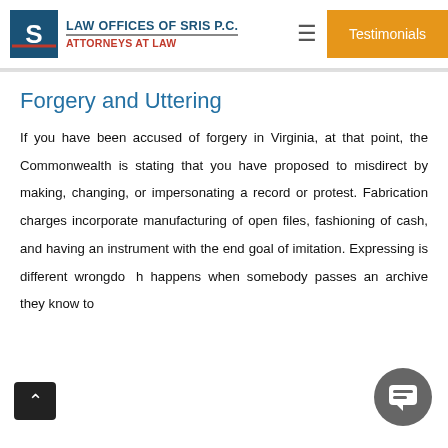LAW OFFICES OF SRIS P.C. ATTORNEYS AT LAW | Testimonials
Forgery and Uttering
If you have been accused of forgery in Virginia, at that point, the Commonwealth is stating that you have proposed to misdirect by making, changing, or impersonating a record or protest. Fabrication charges incorporate manufacturing of open files, fashioning of cash, and having an instrument with the end goal of imitation. Expressing is different wrongdo...th happens when somebody passes an archive they know to